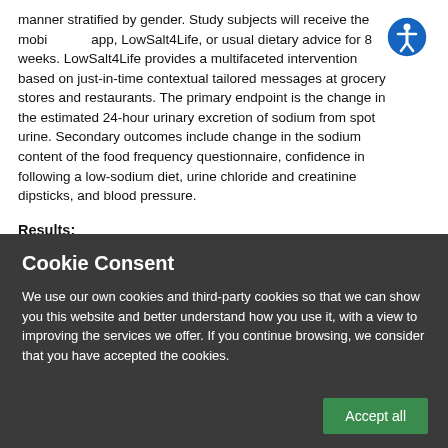manner stratified by gender. Study subjects will receive the mobile app, LowSalt4Life, or usual dietary advice for 8 weeks. LowSalt4Life provides a multifaceted intervention based on just-in-time contextual tailored messages at grocery stores and restaurants. The primary endpoint is the change in the estimated 24-hour urinary excretion of sodium from spot urine. Secondary outcomes include change in the sodium content of the food frequency questionnaire, confidence in following a low-sodium diet, urine chloride and creatinine dipsticks, and blood pressure.
Results:
Cookie Consent
We use our own cookies and third-party cookies so that we can show you this website and better understand how you use it, with a view to improving the services we offer. If you continue browsing, we consider that you have accepted the cookies.